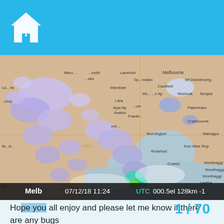Home Assistant radar app header with logo
[Figure (map): Melbourne area weather radar screenshot showing rain rate overlay. Dated 07/12/18 11:24 UTC, 000.5el 128km -1. Shows blue/light rain across western Victoria with teal/green heavier rain in center-south. Legend shows Rain Rate from Light (white/purple) to Moderate (teal) to Heavy (yellow/orange/red/dark red).]
Hope you all enjoy and please let me know if there are any bugs or feature requests! Cheers.
1 / 70